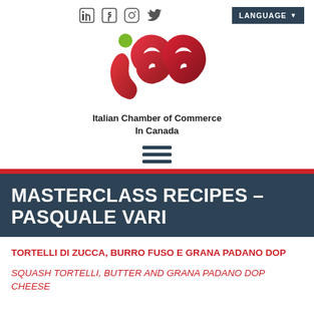Social icons: LinkedIn, Facebook, Instagram, Twitter | LANGUAGE dropdown
[Figure (logo): ICC - Italian Chamber of Commerce In Canada logo with red stylized letters and green dot]
[Figure (other): Hamburger menu icon (three horizontal dark lines)]
MASTERCLASS RECIPES – PASQUALE VARI
TORTELLI DI ZUCCA, BURRO FUSO E GRANA PADANO DOP
SQUASH TORTELLI, BUTTER AND GRANA PADANO DOP CHEESE